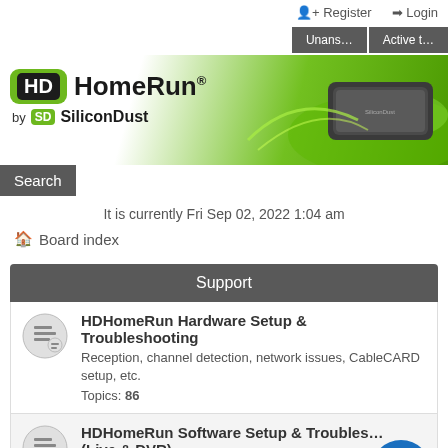Register  Login
[Figure (screenshot): HDHomeRun by SiliconDust logo banner with green gradient background and device image, plus Unanswered and Active topics tab buttons]
Search
It is currently Fri Sep 02, 2022 1:04 am
Board index
Support
HDHomeRun Hardware Setup & Troubleshooting
Reception, channel detection, network issues, CableCARD setup, etc.
Topics: 86
HDHomeRun Software Setup & Troubleshooting (Live & DVR)
Help and support for HDHomeRun DVR and HDHomeRun